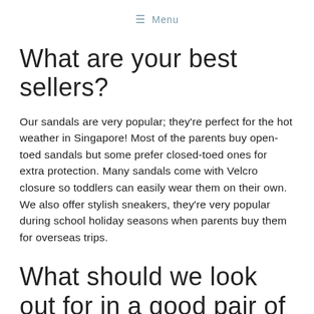≡ Menu
What are your best sellers?
Our sandals are very popular; they're perfect for the hot weather in Singapore! Most of the parents buy open-toed sandals but some prefer closed-toed ones for extra protection. Many sandals come with Velcro closure so toddlers can easily wear them on their own. We also offer stylish sneakers, they're very popular during school holiday seasons when parents buy them for overseas trips.
What should we look out for in a good pair of kids' shoes?